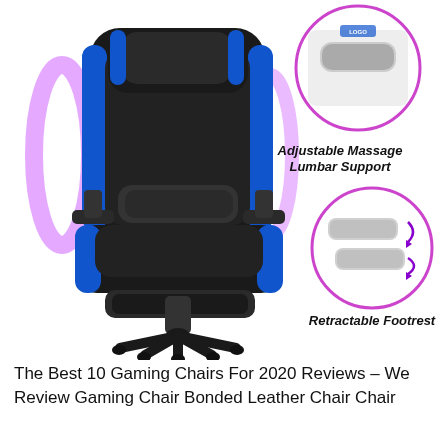[Figure (infographic): Gaming chair product infographic showing a black and blue gaming chair with adjustable massage lumbar support, retractable footrest, and heavy duty metal base. Three circular callout images highlight the adjustable massage lumbar support (top right), retractable footrest (middle right), and heavy duty metal base (bottom right). Purple glow effects are shown on the sides of the chair.]
The Best 10 Gaming Chairs For 2020 Reviews – We Review Gaming Chair Bonded Leather Chair Chair